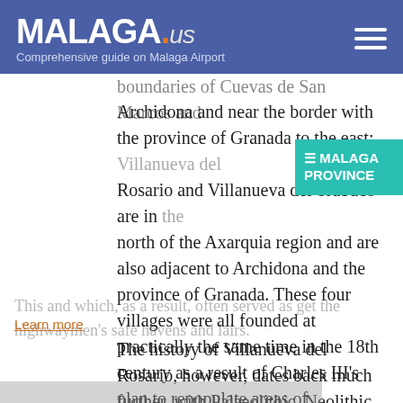MALAGA.us — Comprehensive guide on Malaga Airport
boundaries of Cuevas de San Marcos and Archidona and near the border with the province of Granada to the east; Villanueva del Rosario and Villanueva del Trabuco are in the north of the Axarquia region and are also adjacent to Archidona and the province of Granada. These four villages were all founded at practically the same time in the 18th century as a result of Charles III's plan to repopulate areas of Andalusia which were practically uninhabited and which, as a result, often served as highwaymen's safe havens and lairs.
Learn more
The history of Villanueva del Rosario, however, dates back much further, with Palaeolithic, Neolithic, Calcolithic and Bronze Age archaeological remains being discovered here,